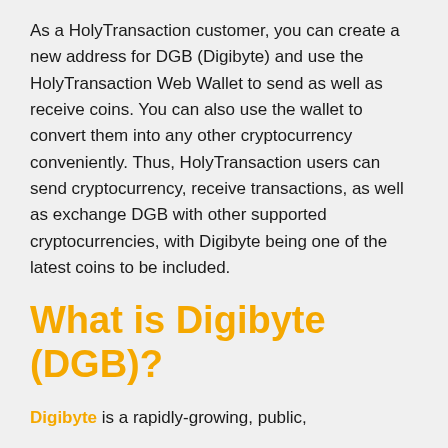As a HolyTransaction customer, you can create a new address for DGB (Digibyte) and use the HolyTransaction Web Wallet to send as well as receive coins. You can also use the wallet to convert them into any other cryptocurrency conveniently. Thus, HolyTransaction users can send cryptocurrency, receive transactions, as well as exchange DGB with other supported cryptocurrencies, with Digibyte being one of the latest coins to be included.
What is Digibyte (DGB)?
Digibyte is a rapidly-growing, public, decentralized blockchain...